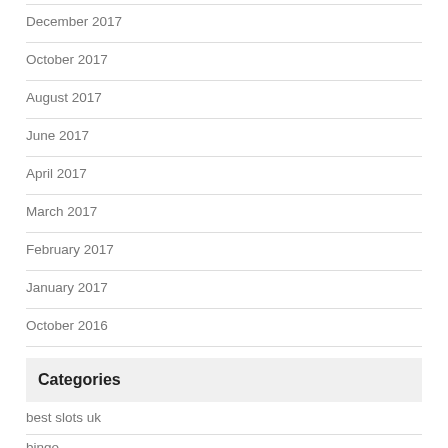December 2017
October 2017
August 2017
June 2017
April 2017
March 2017
February 2017
January 2017
October 2016
Categories
best slots uk
bingo
free slots